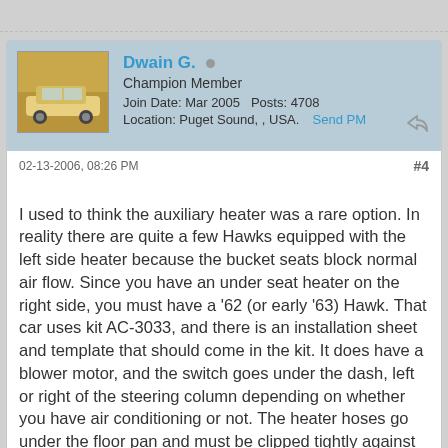Dwain G. • Champion Member Join Date: Mar 2005 Posts: 4708 Location: Puget Sound, , USA. Send PM
02-13-2006, 08:26 PM #4
I used to think the auxiliary heater was a rare option. In reality there are quite a few Hawks equipped with the left side heater because the bucket seats block normal air flow. Since you have an under seat heater on the right side, you must have a '62 (or early '63) Hawk. That car uses kit AC-3033, and there is an installation sheet and template that should come in the kit. It does have a blower motor, and the switch goes under the dash, left or right of the steering column depending on whether you have air conditioning or not. The heater hoses go under the floor pan and must be clipped tightly against the floor tunnel.